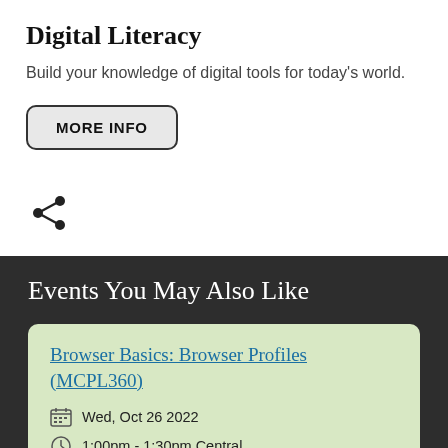Digital Literacy
Build your knowledge of digital tools for today's world.
MORE INFO
Events You May Also Like
Browser Basics: Browser Profiles (MCPL360)
Wed, Oct 26 2022
1:00pm - 1:30pm Central